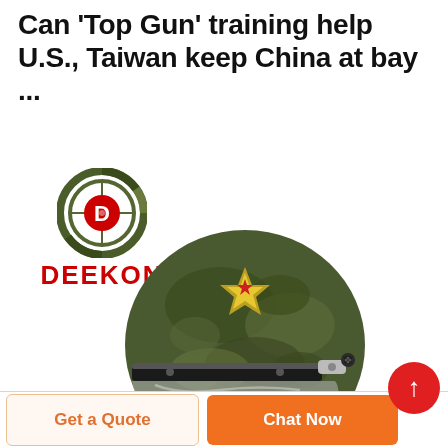Can 'Top Gun' training help U.S., Taiwan keep China at bay ...
[Figure (logo): DEEKON brand logo: circular camouflage-style ring with a red D in center, and bold red DEEKON text below]
[Figure (photo): Military-style camouflage helmet with visor and gold star badge, photographed on white background. Product photo from DEEKON.]
Get a Quote
Chat Now